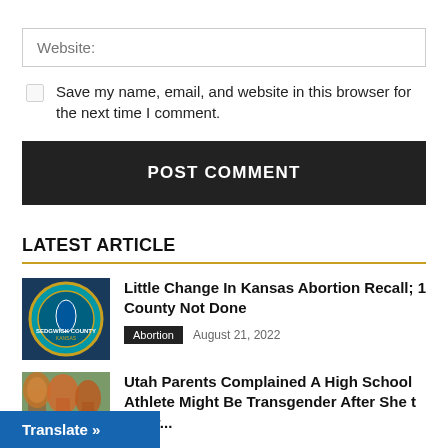Website:
Save my name, email, and website in this browser for the next time I comment.
POST COMMENT
LATEST ARTICLE
[Figure (photo): Sedgwick County Kansas seal/logo on a teal background]
Little Change In Kansas Abortion Recall; 1 County Not Done
Abortion   August 21, 2022
[Figure (photo): Autumn trees outdoors]
Utah Parents Complained A High School Athlete Might Be Transgender After She t Their...
Translate »